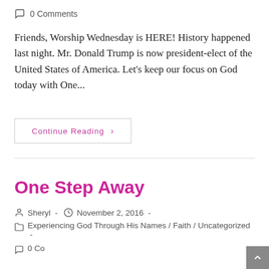0 Comments
Friends, Worship Wednesday is HERE! History happened last night. Mr. Donald Trump is now president-elect of the United States of America. Let's keep our focus on God today with One...
Continue Reading ›
One Step Away
Sheryl - November 2, 2016 -
Experiencing God Through His Names / Faith / Uncategorized -
0 Comments